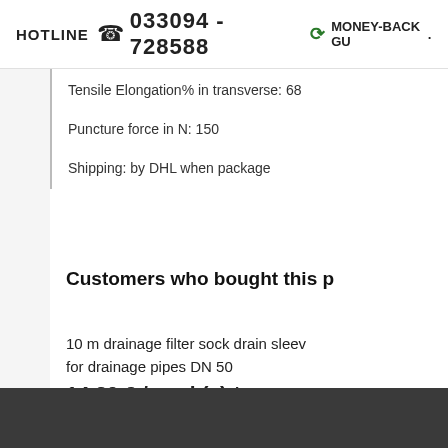HOTLINE ☎ 033094 - 728588   ⟳ MONEY-BACK GU
Tensile Elongation% in transverse: 68
Puncture force in N: 150
Shipping: by DHL when package
Customers who bought this p
10 m drainage filter sock drain sleev for drainage pipes DN 50
14.20 € / pack(s) * (1 m = 1.42 €)
* Prices include VAT, plus delivery
Browse these categories as well: Pflanz